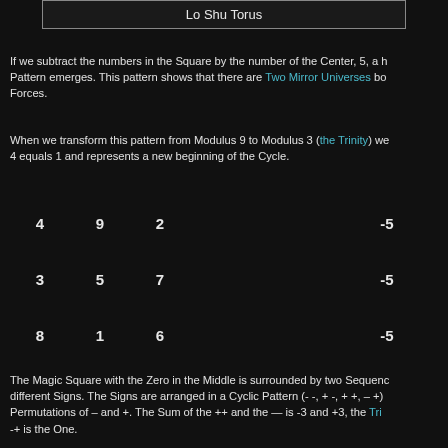Lo Shu Torus
If we subtract the numbers in the Square by the number of the Center, 5, a h Pattern emerges. This pattern shows that there are Two Mirror Universes bo Forces.
When we transform this pattern from Modulus 9 to Modulus 3 (the Trinity) we 4 equals 1 and represents a new beginning of the Cycle.
[Figure (other): Magic square grid showing numbers 4,9,2 / 3,5,7 / 8,1,6 with -5 annotations on right]
The Magic Square with the Zero in the Middle is surrounded by two Sequence different Signs. The Signs are arranged in a Cyclic Pattern (- -, + -, + +, – +) Permutations of – and +. The Sum of the ++ and the — is -3 and +3, the Tri -+ is the One.
The Cyclic Pattern of + and – represents the Prisoners Dilemma that is solve Tit for Tat. This strategy is applied by the Trickster, the God of Paradox, a co God creates games that create games.
When you use the basic Addition and Multiplication Rules of the Magic Squa numbers and patterns appear that are related to Ancient Calenders, Symbo